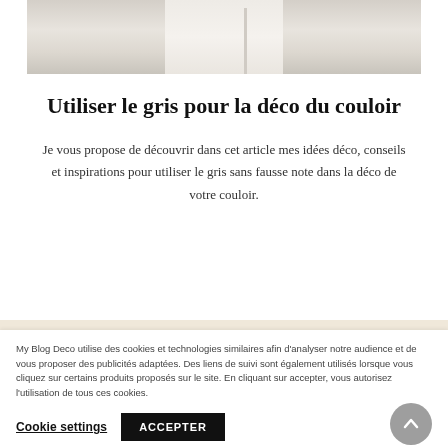[Figure (photo): Interior hallway/corridor with light grey and white tones, tiled floor and door visible]
Utiliser le gris pour la déco du couloir
Je vous propose de découvrir dans cet article mes idées déco, conseils et inspirations pour utiliser le gris sans fausse note dans la déco de votre couloir.
My Blog Deco utilise des cookies et technologies similaires afin d'analyser notre audience et de vous proposer des publicités adaptées. Des liens de suivi sont également utilisés lorsque vous cliquez sur certains produits proposés sur le site. En cliquant sur accepter, vous autorisez l'utilisation de tous ces cookies.
Cookie settings   ACCEPTER